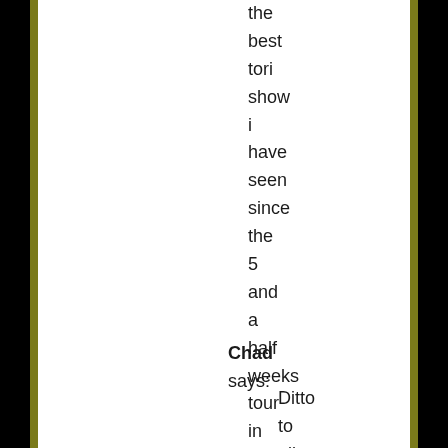the best tori show i have seen since the 5 and a half weeks tour in 1999
Chad says:
Ditto to all the beaming listed